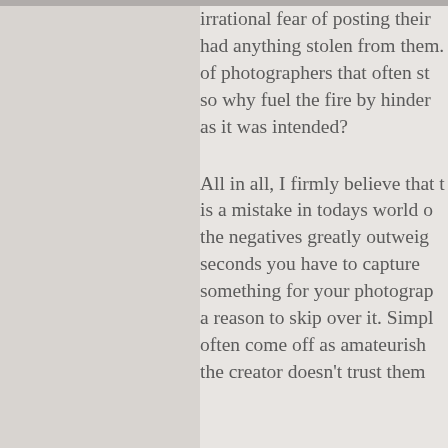irrational fear of posting their work online had anything stolen from them. The majority of photographers that often share their work, so why fuel the fire by hindering your art as it was intended?
All in all, I firmly believe that the watermark is a mistake in todays world of social media, the negatives greatly outweigh the seconds you have to capture attention. Do something for your photography, don't give a reason to skip over it. Simple watermarks often come off as amateurish and suggest the creator doesn't trust them